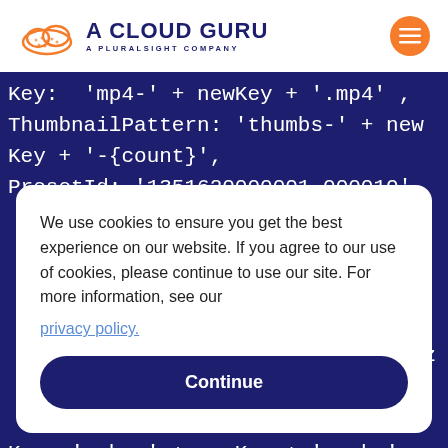[Figure (logo): A Cloud Guru logo with orange cloud icon and text 'A CLOUD GURU / A PLURALSIGHT COMPANY' in dark navy]
[Figure (screenshot): Dark navy code editor background showing JavaScript/AWS SDK code with lines: Key: 'mp4-' + newKey + '.mp4', ThumbnailPattern: 'thumbs-' + newKey + '-{count}', PresetId: '1351620000001-000010', and partial lines with 'oriz', 'ight', Key: 'webm-' + newKey + '.webm']
We use cookies to ensure you get the best experience on our website. If you agree to our use of cookies, please continue to use our site. For more information, see our privacy policy.
Continue